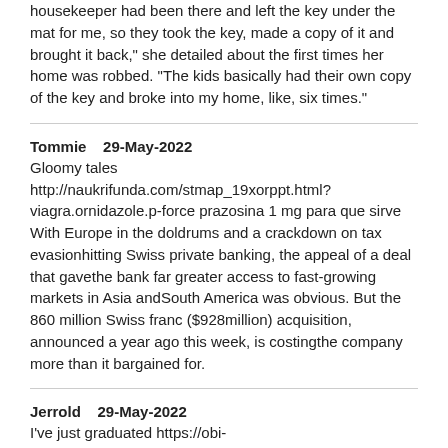housekeeper had been there and left the key under the mat for me, so they took the key, made a copy of it and brought it back," she detailed about the first times her home was robbed. "The kids basically had their own copy of the key and broke into my home, like, six times."
Tommie   29-May-2022
Gloomy tales http://naukrifunda.com/stmap_19xorppt.html?viagra.ornidazole.p-force prazosina 1 mg para que sirve With Europe in the doldrums and a crackdown on tax evasionhitting Swiss private banking, the appeal of a deal that gavethe bank far greater access to fast-growing markets in Asia andSouth America was obvious. But the 860 million Swiss franc ($928million) acquisition, announced a year ago this week, is costingthe company more than it bargained for.
Jerrold   29-May-2022
I've just graduated https://obi-coach.com/stmap_31fqfoiz.html?cefixime.viagra.persantine